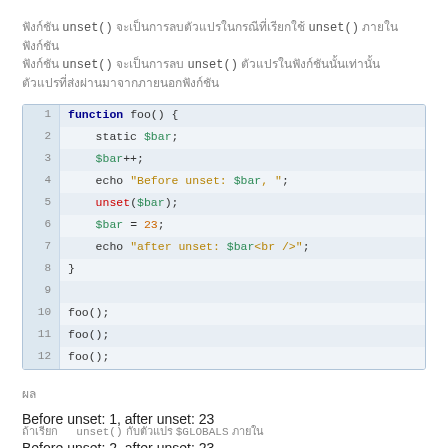ฟังก์ชัน unset() จะเป็นการลบตัวแปรในกรณีที่เรียกใช้ unset() ภายในฟังก์ชัน unset() จะเป็นการลบ unset() ตัวแปรในฟังก์ชันนั้นเท่านั้น
[Figure (screenshot): PHP code block showing function foo() with static $bar, $bar++, echo before unset, unset($bar), $bar = 23, echo after unset, and three calls foo(); foo(); foo();]
ผล
Before unset: 1, after unset: 23
Before unset: 2, after unset: 23
Before unset: 3, after unset: 23
ถ้าเรียก unset() กับตัวแปร $GLOBALS ภายใน